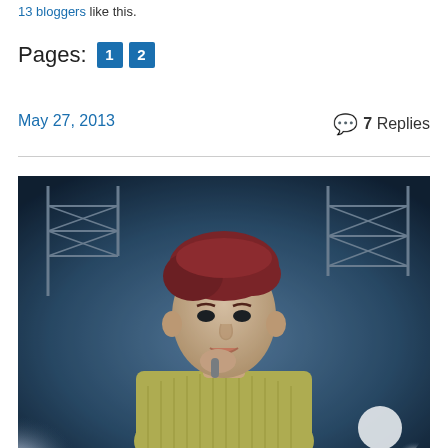13 bloggers like this.
Pages: 1 2
May 27, 2013
7 Replies
[Figure (photo): A young man with red-brown hair wearing a yellow ribbed sweater, holding a microphone to his mouth, performing on stage with dramatic blue stage lighting and scaffolding visible in the background.]